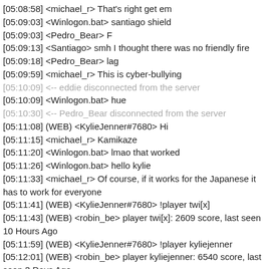[05:08:58] <michael_r> That's right get em
[05:09:03] <Winlogon.bat> santiago shield
[05:09:03] <Pedro_Bear> F
[05:09:13] <Santiago> smh I thought there was no friendly fire
[05:09:18] <Pedro_Bear> lag
[05:09:59] <michael_r> This is cyber-bullying
[05:10:09] <-- eddie disconnected from the server
[05:10:09] <Winlogon.bat> hue
[05:10:30] <-- Pedro_Bear disconnected from the server
[05:11:08] (WEB) <KylieJenner#7680> Hi
[05:11:15] <michael_r> Kamikaze
[05:11:20] <Winlogon.bat> lmao that worked
[05:11:26] <Winlogon.bat> hello kylie
[05:11:33] <michael_r> Of course, if it works for the Japanese it has to work for everyone
[05:11:41] (WEB) <KylieJenner#7680> !player twi[x]
[05:11:43] (WEB) <robin_be> player twi[x]: 2609 score, last seen 10 Hours Ago
[05:11:59] (WEB) <KylieJenner#7680> !player kyliejenner
[05:12:01] (WEB) <robin_be> player kyliejenner: 6540 score, last seen 3 Days Ago
[05:12:22] (WEB) <KylieJenner#7680> Did daniel ask himself to get banned?
[05:12:32] <Allen_Lombard> yes
[05:12:42] (WEB) <KylieJenner#7680> Lol it�s real
[05:12:49] (WEB) <KylieJenner#7680> Allen